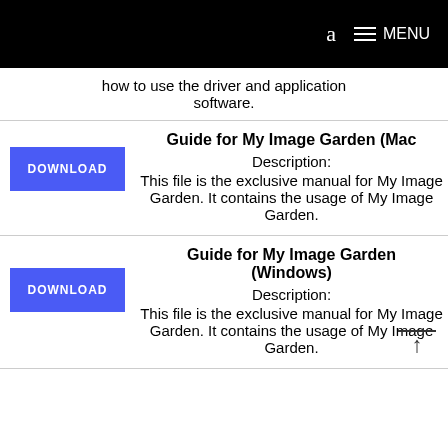a  MENU
how to use the driver and application software.
Guide for My Image Garden (Mac
Description: This file is the exclusive manual for My Image Garden. It contains the usage of My Image Garden.
Guide for My Image Garden (Windows)
Description: This file is the exclusive manual for My Image Garden. It contains the usage of My Image Garden.